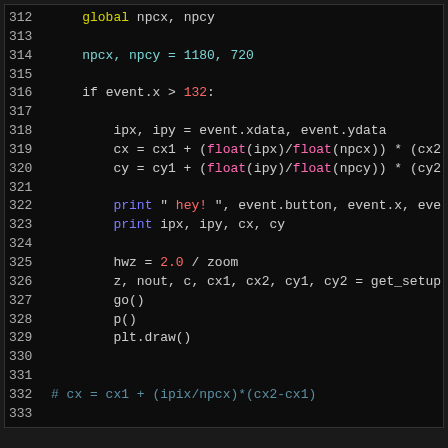[Figure (screenshot): Python source code editor screenshot showing lines 312-337 with syntax highlighting on dark background. Code includes global variable declarations, conditional logic, float calculations, print statements, and matplotlib canvas/figure commands.]